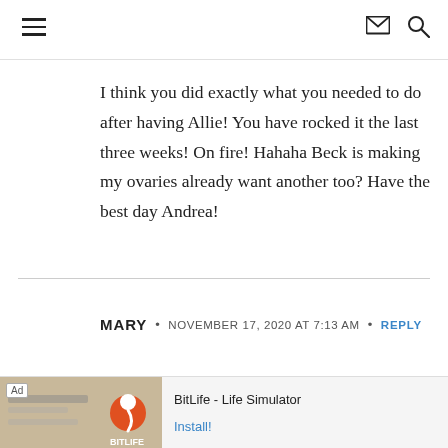Navigation bar with hamburger menu, mail icon, and search icon
I think you did exactly what you needed to do after having Allie! You have rocked it the last three weeks! On fire! Hahaha Beck is making my ovaries already want another too? Have the best day Andrea!
MARY • NOVEMBER 17, 2020 AT 7:13 AM • REPLY
...t rid of ...ith any
[Figure (screenshot): Advertisement banner for BitLife - Life Simulator app with install button]